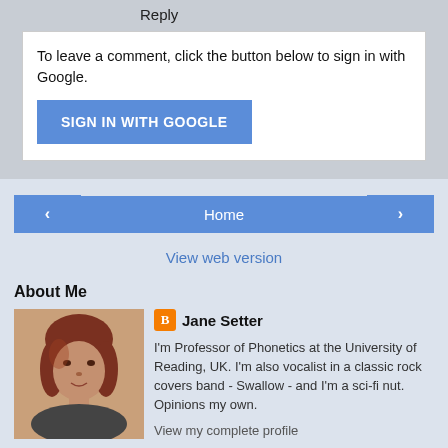Reply
To leave a comment, click the button below to sign in with Google.
SIGN IN WITH GOOGLE
Home
View web version
About Me
Jane Setter
I'm Professor of Phonetics at the University of Reading, UK. I'm also vocalist in a classic rock covers band - Swallow - and I'm a sci-fi nut. Opinions my own.
View my complete profile
Powered by Blogger.